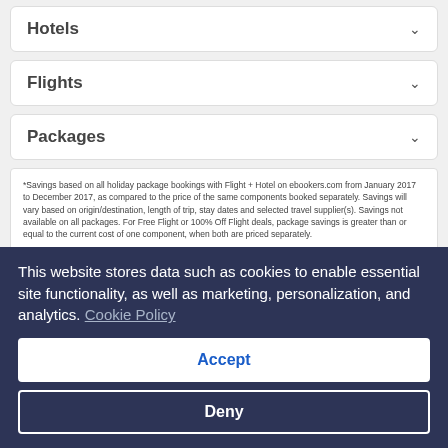Hotels
Flights
Packages
*Savings based on all holiday package bookings with Flight + Hotel on ebookers.com from January 2017 to December 2017, as compared to the price of the same components booked separately. Savings will vary based on origin/destination, length of trip, stay dates and selected travel supplier(s). Savings not available on all packages. For Free Flight or 100% Off Flight deals, package savings is greater than or equal to the current cost of one component, when both are priced separately.
This website stores data such as cookies to enable essential site functionality, as well as marketing, personalization, and analytics. Cookie Policy
Accept
Deny